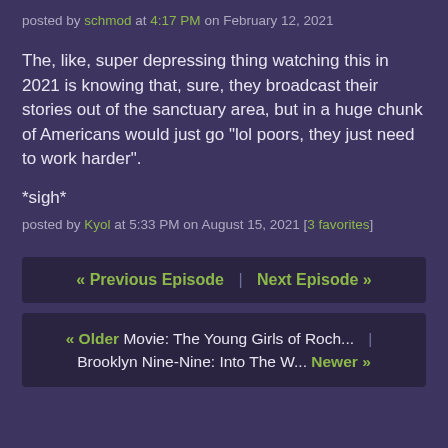posted by schmod at 4:17 PM on February 12, 2021
The, like, super depressing thing watching this in 2021 is knowing that, sure, they broadcast their stories out of the sanctuary area, but in a huge chunk of Americans would just go "lol poors, they just need to work harder".
*sigh*
posted by Kyol at 5:33 PM on August 15, 2021 [3 favorites]
« Previous Episode | Next Episode »
« Older Movie: The Young Girls of Roch... | Brooklyn Nine-Nine: Into The W... Newer »